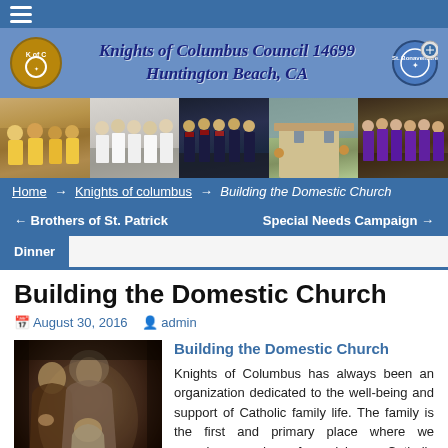Knights of Columbus Council 14699
Huntington Beach, CA
[Figure (photo): Photo banner with five segments showing Knights of Columbus members in various activities and uniforms]
Home → Knights of columbus → Building the Domestic Church
← Brothers of St. Patrick Dinner
Special Needs Campaign →
Building the Domestic Church
August 30, 2016  admin
[Figure (illustration): Sepia-toned religious illustration of the Holy Family (Joseph, Mary, and infant Jesus)]
Building the Domestic Church
Knights of Columbus has always been an organization dedicated to the well-being and support of Catholic family life. The family is the first and primary place where we experience and are formed in our Catholic faith. By building upon our current